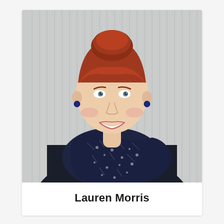[Figure (photo): Professional headshot of a woman with red hair styled in an updo with bangs, wearing a dark navy jacket and a patterned navy/white scarf, smiling, against a corrugated metal background.]
Lauren Morris